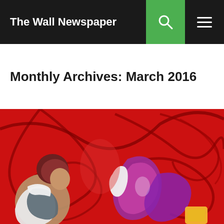The Wall Newspaper
Monthly Archives: March 2016
[Figure (illustration): A colorful painting with a vivid red background featuring dark swirling outlines. On the left, a figure with dark hair wearing a white and grey outfit, shown in profile. In the center-right, an abstract figure with purple and magenta tones holding white objects. The overall style is expressionist with bold brushwork.]